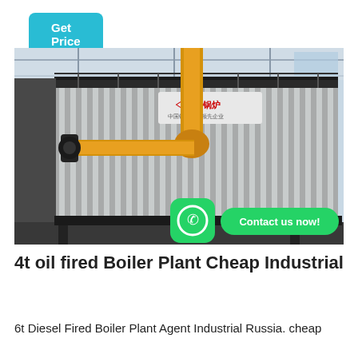Get Price
[Figure (photo): Industrial boiler plant with corrugated metal cladding, yellow gas pipes, and Chinese manufacturer branding. WhatsApp contact overlay at bottom.]
4t oil fired Boiler Plant Cheap Industrial
6t Diesel Fired Boiler Plant Agent Industrial Russia. cheap